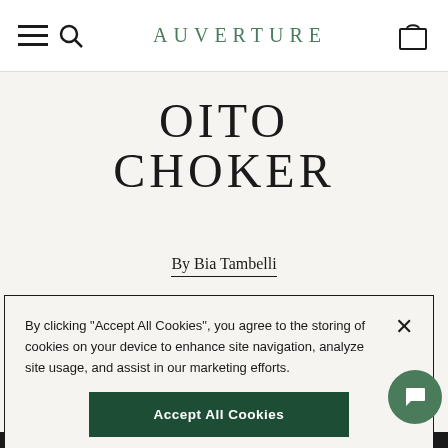AUVERTURE
OITO CHOKER
By Bia Tambelli
By clicking "Accept All Cookies", you agree to the storing of cookies on your device to enhance site navigation, analyze site usage, and assist in our marketing efforts.
Accept All Cookies
Cookies Settings